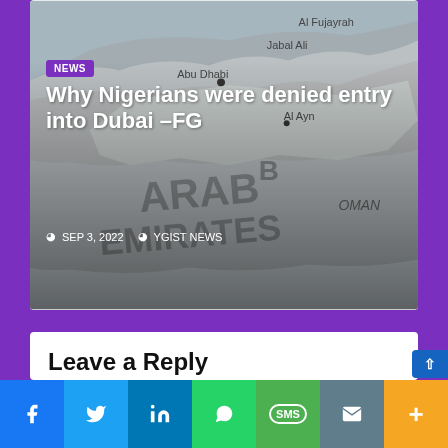[Figure (map): Map of UAE showing Al Fujayrah, Jabal Ali, Abu Dhabi, Al Ayn, UAE, ARAB EMIRATES, OMAN labels]
NEWS
Why Nigerians were denied entry into Dubai –FG
SEP 3, 2022   YGIST NEWS
Leave a Reply
Enter your comment here...